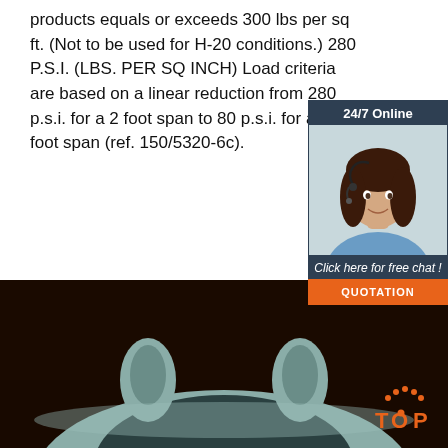products equals or exceeds 300 lbs per sq ft. (Not to be used for H-20 conditions.) 280 P.S.I. (LBS. PER SQ INCH) Load criteria are based on a linear reduction from 280 p.s.i. for a 2 foot span to 80 p.s.i. for a 10 foot span (ref. 150/5320-6c).
[Figure (photo): Customer service agent photo with 24/7 Online chat widget overlay and QUOTATION button]
[Figure (photo): Dark brown background with light gray/teal concrete or plastic pipe product shown from above, with orange TOP logo in lower right]